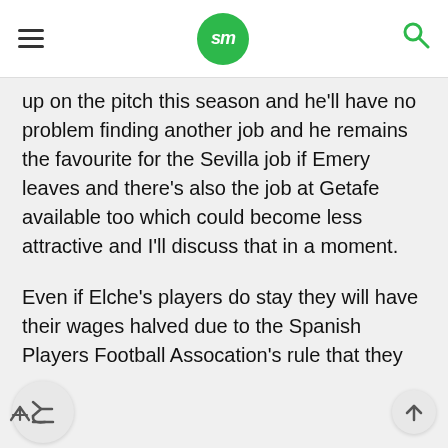SM logo navigation header
up on the pitch this season and he'll have no problem finding another job and he remains the favourite for the Sevilla job if Emery leaves and there's also the job at Getafe available too which could become less attractive and I'll discuss that in a moment.
Even if Elche's players do stay they will have their wages halved due to the Spanish Players Football Assocation's rule that they have in place for players in the second division or lower and their sporting director will also depart the club just like Escriba for the same reason.
Elche finished 13th on 41 points six clear of the final relegation place which was filled by Eibar but mis-management again at a Spanish club and time and time